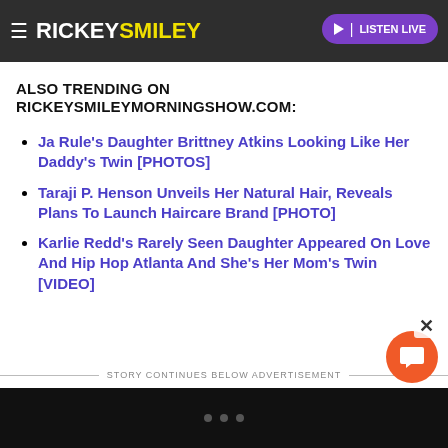RICKEYSMILEY MORNING SHOW — This story was originally published on MadameNo... LISTEN LIVE
ALSO TRENDING ON RICKEYSMILEYMORNINGSHOW.COM:
Ja Rule's Daughter Brittney Atkins Looking Like Her Daddy's Twin [PHOTOS]
Taraji P. Henson Unveils Her Natural Hair, Reveals Plans To Launch Haircare Brand [PHOTO]
Karlie Redd's Rarely Seen Daughter Appeared On Love And Hip Hop Atlanta And She's Her Mom's Twin [VIDEO]
STORY CONTINUES BELOW ADVERTISEMENT